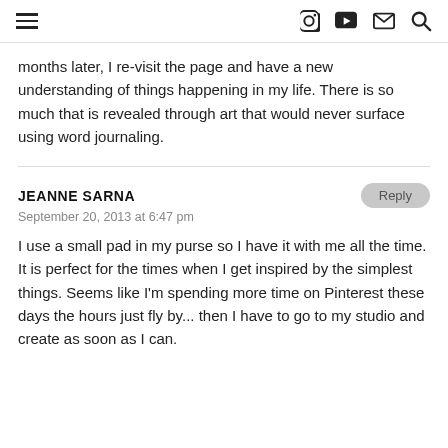≡  [Instagram] [YouTube] [Mail] [Search]
months later, I re-visit the page and have a new understanding of things happening in my life. There is so much that is revealed through art that would never surface using word journaling.
JEANNE SARNA
September 20, 2013 at 6:47 pm
I use a small pad in my purse so I have it with me all the time. It is perfect for the times when I get inspired by the simplest things. Seems like I'm spending more time on Pinterest these days the hours just fly by... then I have to go to my studio and create as soon as I can.